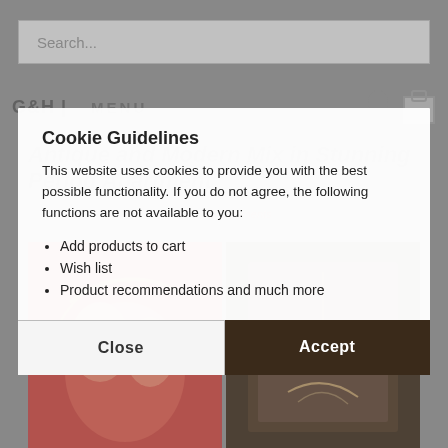Search...
G&H | MENU
Antique and Modern Mix in Stunning Period Apartment
From: Bianca | 24/10/2017 01:00 | 0 Comments
[Figure (photo): Two photos: left is red/floral artwork with figures, right is dark wooden cabinet/furniture detail]
Cookie Guidelines
This website uses cookies to provide you with the best possible functionality. If you do not agree, the following functions are not available to you:
Add products to cart
Wish list
Product recommendations and much more
Close
Accept